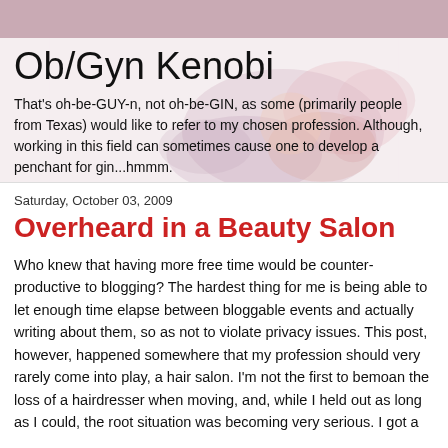Ob/Gyn Kenobi
That's oh-be-GUY-n, not oh-be-GIN, as some (primarily people from Texas) would like to refer to my chosen profession. Although, working in this field can sometimes cause one to develop a penchant for gin...hmmm.
Saturday, October 03, 2009
Overheard in a Beauty Salon
Who knew that having more free time would be counter-productive to blogging? The hardest thing for me is being able to let enough time elapse between bloggable events and actually writing about them, so as not to violate privacy issues. This post, however, happened somewhere that my profession should very rarely come into play, a hair salon. I'm not the first to bemoan the loss of a hairdresser when moving, and, while I held out as long as I could, the root situation was becoming very serious. I got a